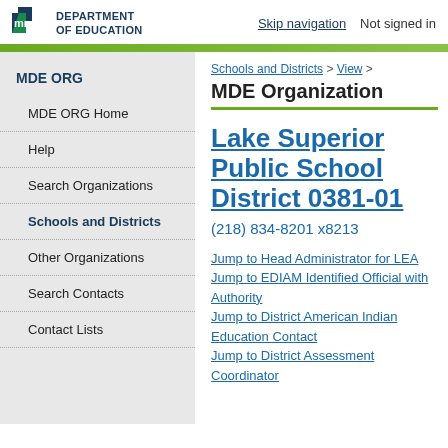Skip navigation   Not signed in
[Figure (logo): Minnesota Department of Education logo with MN icon and text DEPARTMENT OF EDUCATION]
MDE ORG
MDE ORG Home
Help
Search Organizations
Schools and Districts
Other Organizations
Search Contacts
Contact Lists
Schools and Districts > View >
MDE Organization
Lake Superior Public School District 0381-01
(218) 834-8201 x8213
Jump to Head Administrator for LEA
Jump to EDIAM Identified Official with Authority
Jump to District American Indian Education Contact
Jump to District Assessment Coordinator